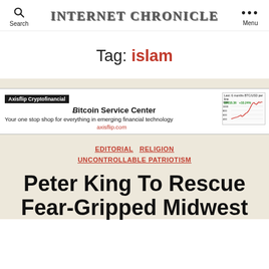INTERNET CHRONICLE
Tag: islam
[Figure (screenshot): Bitcoin Service Center advertisement banner with Axisflip Cryptofinancial branding, tagline 'Your one stop shop for everything in emerging financial technology', axisflip.com URL, and a small line chart showing Bitcoin price]
EDITORIAL  RELIGION  UNCONTROLLABLE PATRIOTISM
Peter King To Rescue Fear-Gripped Midwest